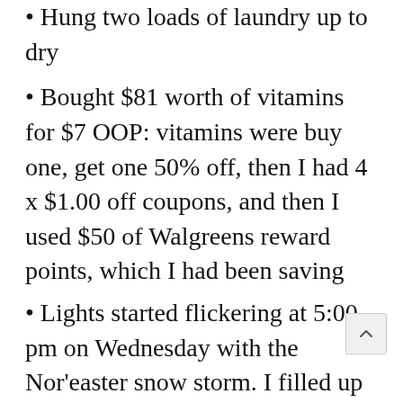Hung two loads of laundry up to dry
Bought $81 worth of vitamins for $7 OOP: vitamins were buy one, get one 50% off, then I had 4 x $1.00 off coupons, and then I used $50 of Walgreens reward points, which I had been saving
Lights started flickering at 5:00 pm on Wednesday with the Nor’easter snow storm. I filled up several containers of tap water and put in bathroom and kitchen for easy access in case we lost power. I have bottled water in the basement for